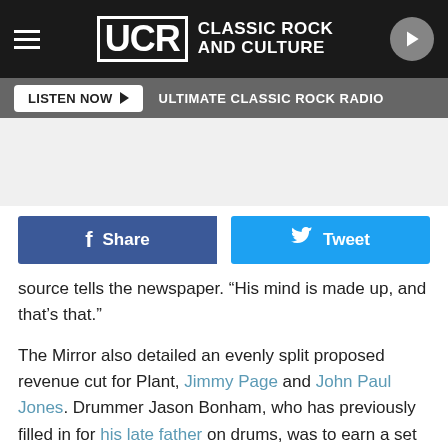UCR Classic Rock and Culture
LISTEN NOW  ULTIMATE CLASSIC ROCK RADIO
[Figure (screenshot): Facebook Share and Twitter Tweet social sharing buttons]
source tells the newspaper. "His mind is made up, and that's that."
The Mirror also detailed an evenly split proposed revenue cut for Plant, Jimmy Page and John Paul Jones. Drummer Jason Bonham, who has previously filled in for his late father on drums, was to earn a set salary. Everyone save for Plant had reportedly signed the contracts.
Branson was reportedly even willing to rename one of his